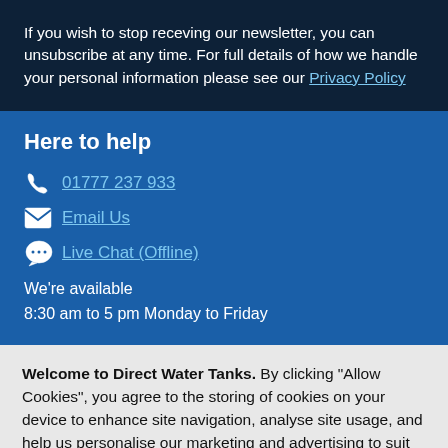If you wish to stop receving our newsletter, you can unsubscribe at any time. For full details of how we handle your personal information please see our Privacy Policy
Here to help
01777 237 933
Email Us
Live Chat (Offline)
We're available
8:30 am to 5 pm Monday to Friday
Welcome to Direct Water Tanks. By clicking "Allow Cookies", you agree to the storing of cookies on your device to enhance site navigation, analyse site usage, and help us personalise our marketing and advertising to suit your requirements. View Privacy Policy.
Reject Cookies | Allow Cookies